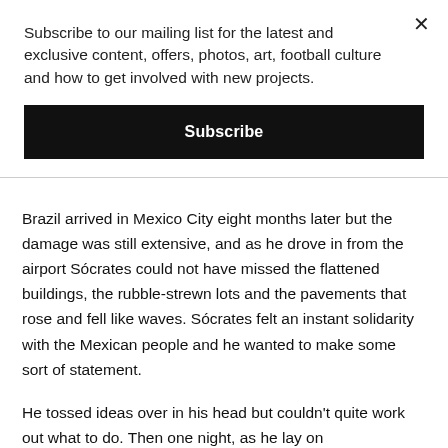Subscribe to our mailing list for the latest and exclusive content, offers, photos, art, football culture and how to get involved with new projects.
Subscribe
Brazil arrived in Mexico City eight months later but the damage was still extensive, and as he drove in from the airport Sócrates could not have missed the flattened buildings, the rubble-strewn lots and the pavements that rose and fell like waves. Sócrates felt an instant solidarity with the Mexican people and he wanted to make some sort of statement.
He tossed ideas over in his head but couldn't quite work out what to do. Then one night, as he lay on